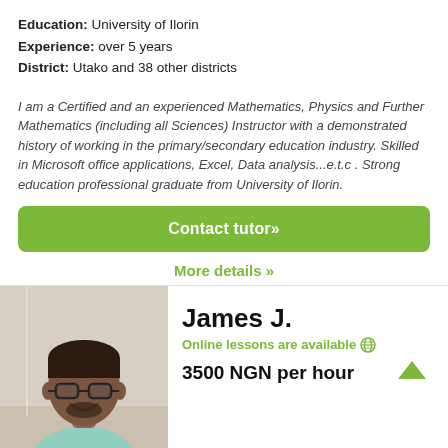Education: University of Ilorin
Experience: over 5 years
District: Utako and 38 other districts
I am a Certified and an experienced Mathematics, Physics and Further Mathematics (including all Sciences) Instructor with a demonstrated history of working in the primary/secondary education industry. Skilled in Microsoft office applications, Excel, Data analysis...e.t.c . Strong education professional graduate from University of Ilorin.
Contact tutor»
More details »
[Figure (photo): Photo of tutor James J., a young man wearing glasses and a light blue shirt, smiling at the camera]
James J.
Online lessons are available 🌐
3500 NGN per hour
An elite experienced education…